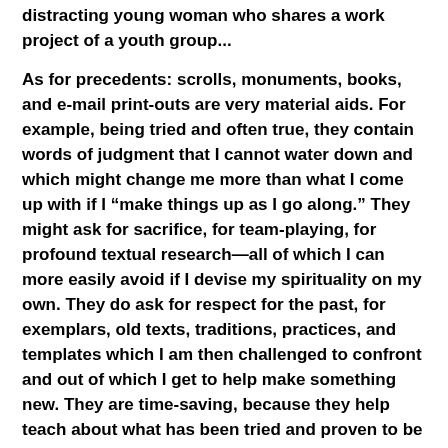distracting young woman who shares a work project of a youth group...
As for precedents: scrolls, monuments, books, and e-mail print-outs are very material aids. For example, being tried and often true, they contain words of judgment that I cannot water down and which might change me more than what I come up with if I "make things up as I go along." They might ask for sacrifice, for team-playing, for profound textual research—all of which I can more easily avoid if I devise my spirituality on my own. They do ask for respect for the past, for exemplars, old texts, traditions, practices, and templates which I am then challenged to confront and out of which I get to help make something new. They are time-saving, because they help teach about what has been tried and proven to be foolish or evanescent. They are also often time-consuming, because they have enlarged the repertory of options with which I am to work.
And if none of the above prompts change, I can always count